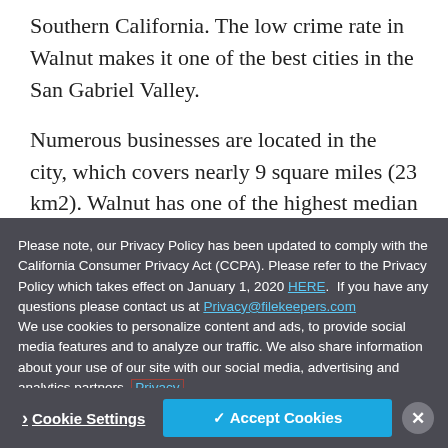Southern California. The low crime rate in Walnut makes it one of the best cities in the San Gabriel Valley.
Numerous businesses are located in the city, which covers nearly 9 square miles (23 km2). Walnut has one of the highest median
Please note, our Privacy Policy has been updated to comply with the California Consumer Privacy Act (CCPA). Please refer to the Privacy Policy which takes effect on January 1, 2020 HERE. If you have any questions please contact us at Privacy@filekeepers.com We use cookies to personalize content and ads, to provide social media features and to analyze our traffic. We also share information about your use of our site with our social media, advertising and analytics partners. Privacy
> Cookie Settings  ✓ Accept Cookies  ×